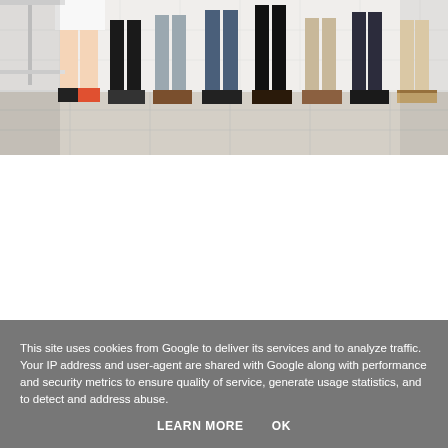[Figure (photo): A cropped photo showing the lower bodies and feet of a group of people standing in a row, wearing various shoes and clothing, on a light tiled floor.]
This site uses cookies from Google to deliver its services and to analyze traffic. Your IP address and user-agent are shared with Google along with performance and security metrics to ensure quality of service, generate usage statistics, and to detect and address abuse.
LEARN MORE    OK